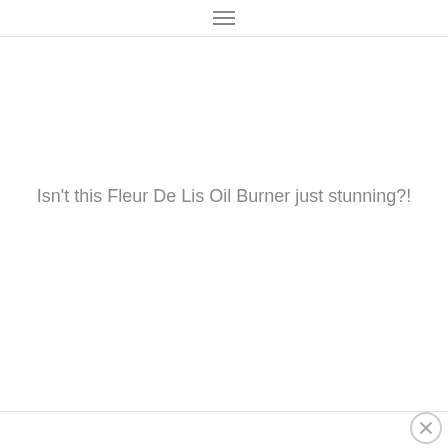≡
Isn't this Fleur De Lis Oil Burner just stunning?!
×